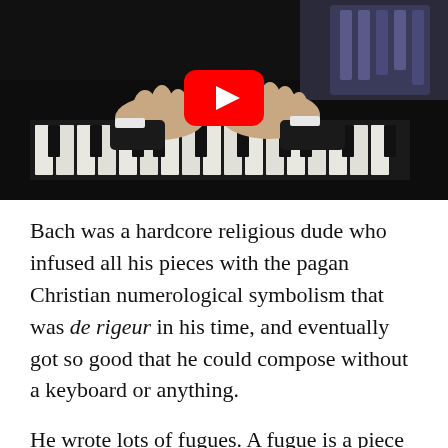[Figure (screenshot): YouTube video thumbnail showing hands playing a pipe organ keyboard, with a red YouTube play button overlay in the center.]
Bach was a hardcore religious dude who infused all his pieces with the pagan Christian numerological symbolism that was de rigeur in his time, and eventually got so good that he could compose without a keyboard or anything.
He wrote lots of fugues. A fugue is a piece where you hear a kind of boring theme played, and as it's humming along the tune starts again higher or